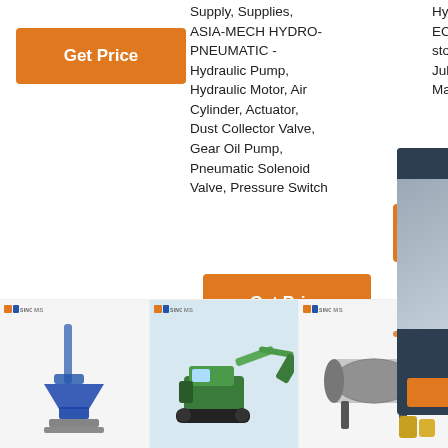[Figure (screenshot): Orange 'Get Price' button in top-left area]
Supply, Supplies, ASIA-MECH HYDRO-PNEUMATIC - Hydraulic Pump, Hydraulic Motor, Air Cylinder, Actuator, Dust Collector Valve, Gear Oil Pump, Pneumatic Solenoid Valve, Pressure Switch
Hydraulic Pump EC240B Main Pump in stock photos - Jining Juheng Hydraulic Mac...
[Figure (screenshot): 24/7 Online chat widget with agent photo, 'Click here for free chat!' and QUOTATION button]
[Figure (screenshot): Orange 'G' partial button on right side]
[Figure (screenshot): Orange 'Get Price' button in middle area]
[Figure (photo): Product image bottom-left: blue auger/screw pump equipment with logo 'MS SINCE 1979']
[Figure (photo): Product image bottom-center: green excavator/construction equipment with logo 'MS SINCE 1979']
[Figure (photo): Product image bottom-right: industrial mixing/processing equipment with TOP badge and logo 'MS SINCE 1979']